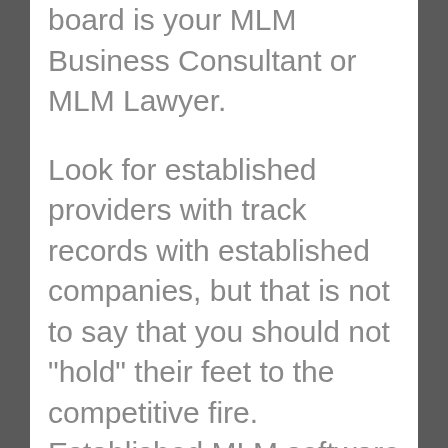board is your MLM Business Consultant or MLM Lawyer.
Look for established providers with track records with established companies, but that is not to say that you should not "hold" their feet to the competitive fire. Established MLM software companies all bring different but important strengths to the table. Most major providers also offer design solutions for the MLM startup that involves web-based